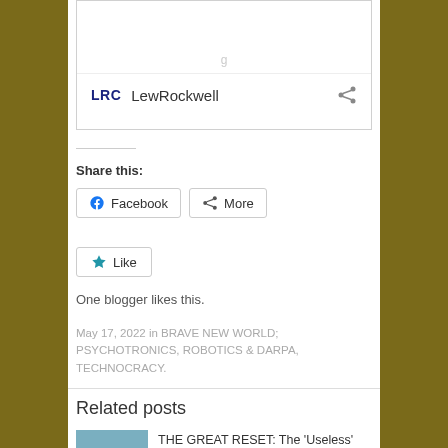[Figure (screenshot): Embedded LewRockwell.com link card with LRC logo, site name, and share icon]
Share this:
Facebook  More
Like
One blogger likes this.
May 17, 2022 in BRAVE NEW WORLD; Psychotronics, Robotics & DARPA, TECHNOCRACY.
Related posts
THE GREAT RESET: The 'Useless' Class – By Martin Armstrong